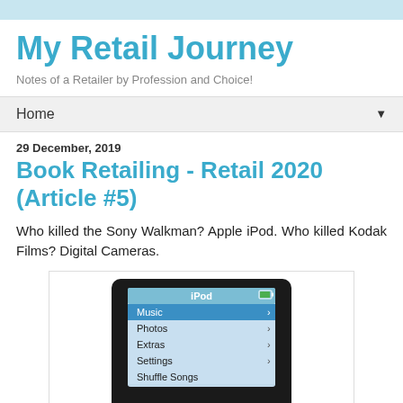My Retail Journey
Notes of a Retailer by Profession and Choice!
Home
29 December, 2019
Book Retailing - Retail 2020 (Article #5)
Who killed the Sony Walkman? Apple iPod. Who killed Kodak Films? Digital Cameras.
[Figure (photo): Image of an Apple iPod device showing its menu screen with options: Music, Photos, Extras, Settings, Shuffle Songs]